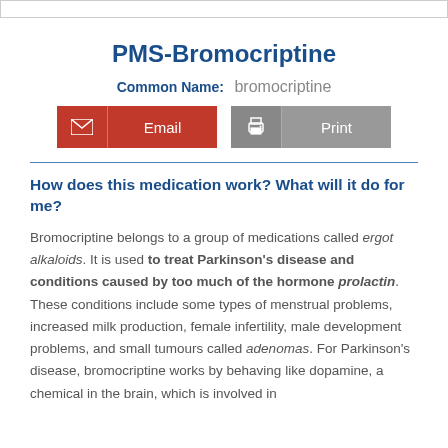PMS-Bromocriptine
Common Name: bromocriptine
How does this medication work? What will it do for me?
Bromocriptine belongs to a group of medications called ergot alkaloids. It is used to treat Parkinson's disease and conditions caused by too much of the hormone prolactin. These conditions include some types of menstrual problems, increased milk production, female infertility, male development problems, and small tumours called adenomas. For Parkinson's disease, bromocriptine works by behaving like dopamine, a chemical in the brain, which is involved in